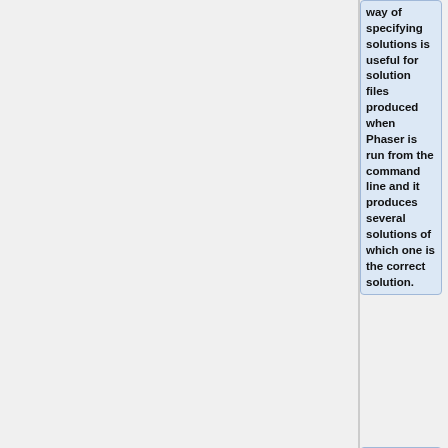way of specifying solutions is useful for solution files produced when Phaser is run from the command line and it produces several solutions of which one is the correct solution.
*Use a solution from the Phaser-MR GUI in PHENIX. In that case the parameter pickle.solution.pklIf name in the sub-scope should be assigned to the solution file that is produced by PHENIX after an MR calculation. The